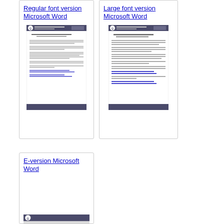Regular font version Microsoft Word
[Figure (screenshot): Small thumbnail preview of a government document page with header and text body]
Large font version Microsoft Word
[Figure (screenshot): Small thumbnail preview of a government document page with header and larger text body]
E-version Microsoft Word